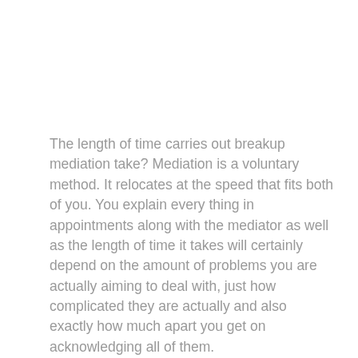The length of time carries out breakup mediation take? Mediation is a voluntary method. It relocates at the speed that fits both of you. You explain every thing in appointments along with the mediator as well as the length of time it takes will certainly depend on the amount of problems you are actually aiming to deal with, just how complicated they are actually and also exactly how much apart you get on acknowledging all of them.